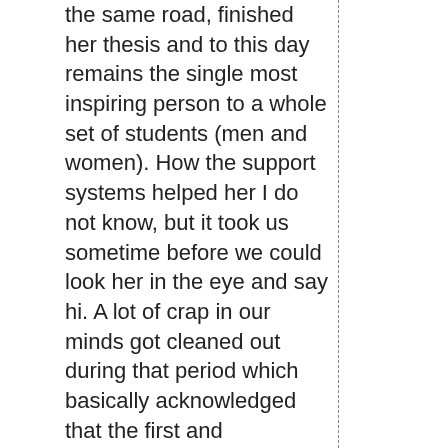the same road, finished her thesis and to this day remains the single most inspiring person to a whole set of students (men and women). How the support systems helped her I do not know, but it took us sometime before we could look her in the eye and say hi. A lot of crap in our minds got cleaned out during that period which basically acknowledged that the first and immediate support system of friends and colleagues had/have